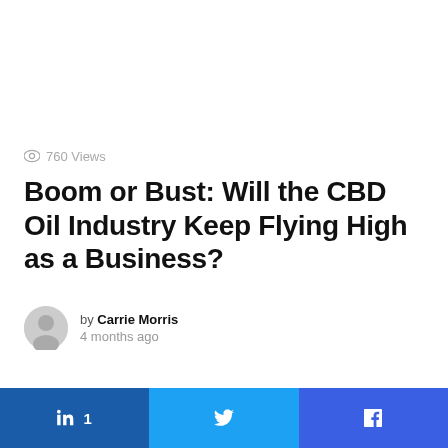760 Views
Boom or Bust: Will the CBD Oil Industry Keep Flying High as a Business?
by Carrie Morris
4 months ago
in 1  [Twitter bird icon]  [Facebook icon]